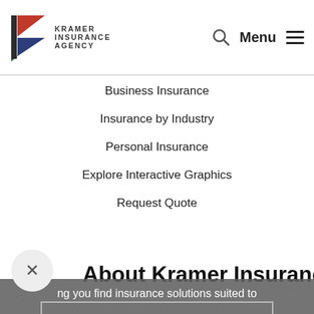[Figure (logo): Kramer Insurance Agency logo with K-shaped icon in red, blue, and green, with text KRAMER INSURANCE AGENCY]
Business Insurance
Insurance by Industry
Personal Insurance
Explore Interactive Graphics
Request Quote
About Kramer Insurance
ng you find insurance solutions suited to
Get a Quote
Call 361-850-1857